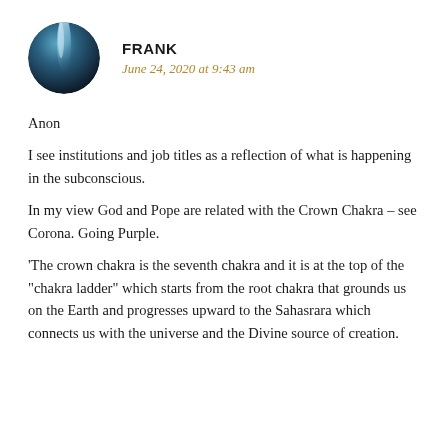[Figure (photo): Circular avatar photo of user Frank, showing a dark blue/teal abstract image]
FRANK
June 24, 2020 at 9:43 am
Anon
I see institutions and job titles as a reflection of what is happening in the subconscious.
In my view God and Pope are related with the Crown Chakra – see Corona. Going Purple.
'The crown chakra is the seventh chakra and it is at the top of the "chakra ladder" which starts from the root chakra that grounds us on the Earth and progresses upward to the Sahasrara which connects us with the universe and the Divine source of creation.